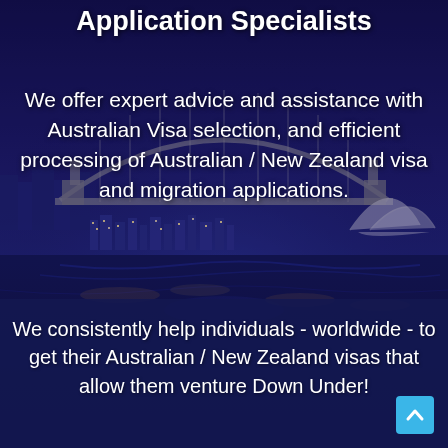Application Specialists
We offer expert advice and assistance with Australian Visa selection, and efficient processing of Australian / New Zealand visa and migration applications.
[Figure (photo): Night photograph of Sydney Harbour Bridge and Opera House with city lights reflecting on the water, blue-purple toned]
We consistently help individuals - worldwide - to get their Australian / New Zealand visas that allow them venture Down Under!